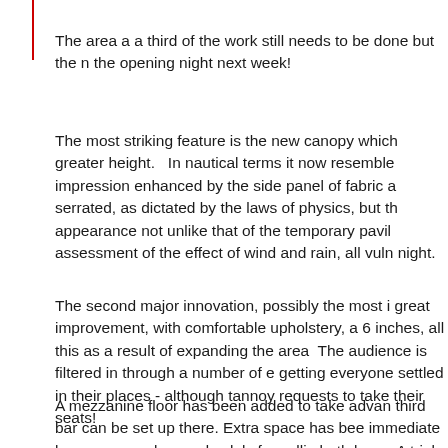The area a a third of the work still needs to be done but the m the opening night next week!
The most striking feature is the new canopy which greater height. In nautical terms it now resemble impression enhanced by the side panel of fabric a serrated, as dictated by the laws of physics, but th appearance not unlike that of the temporary pavil assessment of the effect of wind and rain, all vuln night.
The second major innovation, possibly the most i great improvement, with comfortable upholstery, a 6 inches, all this as a result of expanding the area The audience is filtered in through a number of e getting everyone settled in their places - although tannoy requests to take their seats!
A mezzanine floor has been added to take advan third bar can be set up there. Extra space has bee immediate bar areas can be used solely for sellin both bars. A trial queuing system was in operatio areas are still to be decked, but an expanse of sh